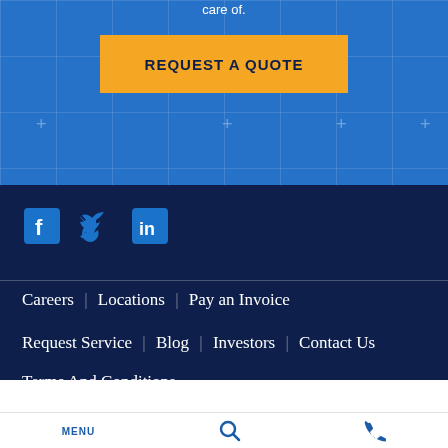care of.
REQUEST A QUOTE
[Figure (other): Social media icons: Facebook, Twitter, LinkedIn]
Careers
Locations
Pay an Invoice
Request Service
Blog
Investors
Contact Us
Terms And Conditions
MENU | Search | Phone